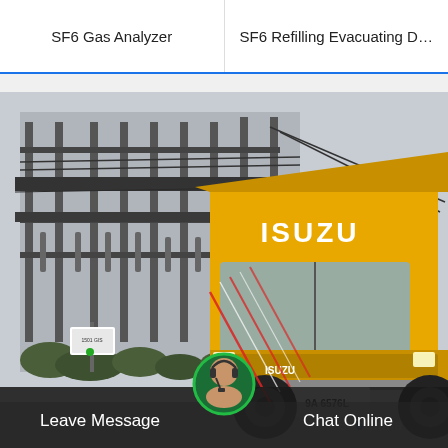SF6 Gas Analyzer
SF6 Refilling Evacuating D…
[Figure (photo): Yellow ISUZU truck parked at an electrical substation with high-voltage equipment visible in the background. The truck appears to be used for SF6 gas service. License plate reads 9A 6576L. SF6China branding visible in bottom right corner.]
Leave Message
Chat Online